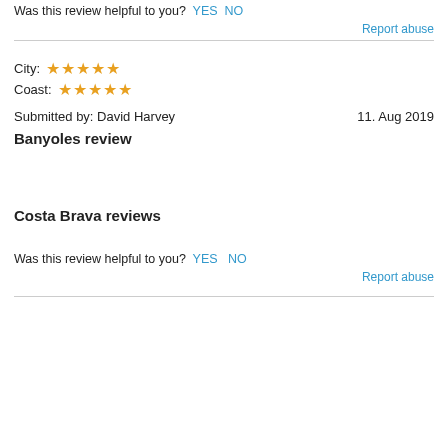Was this review helpful to you?  YES  NO
Report abuse
City: ★★★★★
Coast: ★★★★★
Submitted by: David Harvey   11. Aug 2019
Banyoles review
Costa Brava reviews
Was this review helpful to you?  YES  NO
Report abuse